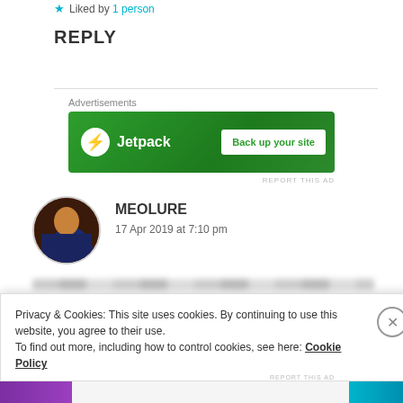Liked by 1 person
REPLY
Advertisements
[Figure (other): Jetpack advertisement banner: green background with Jetpack logo and 'Back up your site' button]
MEOLURE
17 Apr 2019 at 7:10 pm
Privacy & Cookies: This site uses cookies. By continuing to use this website, you agree to their use.
To find out more, including how to control cookies, see here: Cookie Policy
Close and accept